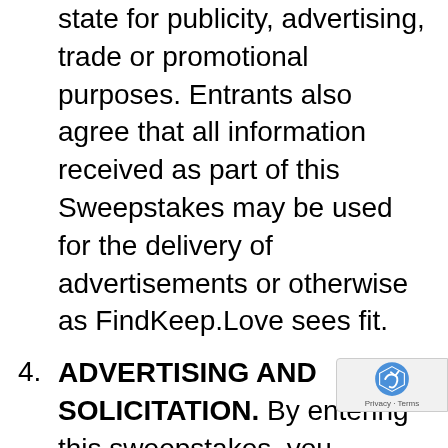state for publicity, advertising, trade or promotional purposes. Entrants also agree that all information received as part of this Sweepstakes may be used for the delivery of advertisements or otherwise as FindKeep.Love sees fit.
4.  ADVERTISING AND SOLICITATION. By entering this sweepstakes, you consent to receiving emails, special offers, electronic newsletters, text messages (including robotexts and/or texts from an autodialer or other similar machine), and solicitations from FindKeep.Love, the Sponsors, and third-party vendors th... may constitute requests to engage i... ...may constitute requests to engage in...